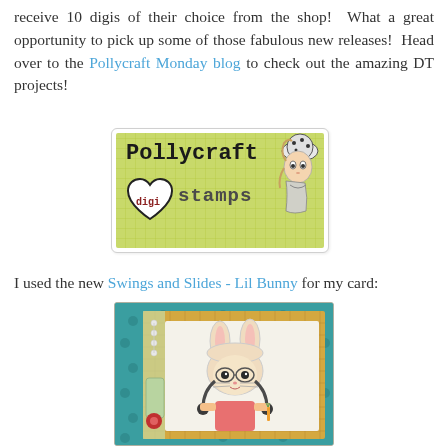receive 10 digis of their choice from the shop! What a great opportunity to pick up some of those fabulous new releases! Head over to the Pollycraft Monday blog to check out the amazing DT projects!
[Figure (logo): Pollycraft Digi Stamps logo — green gingham background with bold monospace text 'Pollycraft' and 'digi stamps' with a heart shape, and a cartoon girl illustration on the right]
I used the new Swings and Slides - Lil Bunny for my card:
[Figure (photo): Handmade greeting card featuring a cartoon girl dressed in a bunny costume with glasses, set against a teal polka-dot background with plaid inner frame and decorative embellishments on the left side]